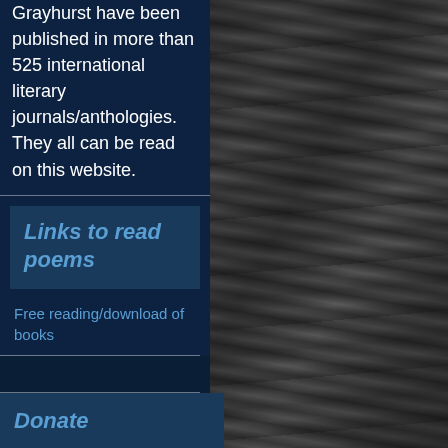Grayhurst have been published in more than 525 international literary journals/anthologies. They all can be read on this website.
Links to read poems
Free reading/download of books
Links to Poems by Title
Donate
[Figure (photo): Black and white photograph of tree bark texture filling the right half of the page]